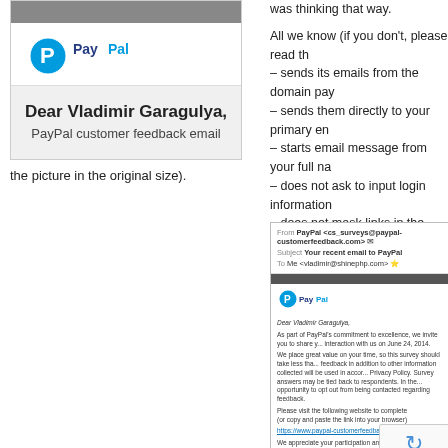[Figure (screenshot): Screenshot of a PayPal customer feedback email with header, PayPal logo, and salutation 'Dear Vladimir Garagulya, PayPal customer feedback email']
was thinking that way.

All we know (if you don't, please read th– sends its emails from the domain pay– sends them directly to your primary en– starts email message from your full na– does not ask to input login information– does not mask links in the message w

I show the full screenshot of discussed
the picture in the original size).
[Figure (screenshot): Full screenshot of PayPal customer feedback email showing From: PayPal <cs_surveys@paypal-customerfeedback.com>, Subject: Your recent email to PayPal, To: Me <vladimir@shinephp.com>, with PayPal logo, salutation Dear Vladimir Garagulya, body text about PayPal commitment to excellence and survey link https://www.paypal-customerfeedback.com/, signed by John McCabe, Senior Vice President. reCAPTCHA overlay visible.]